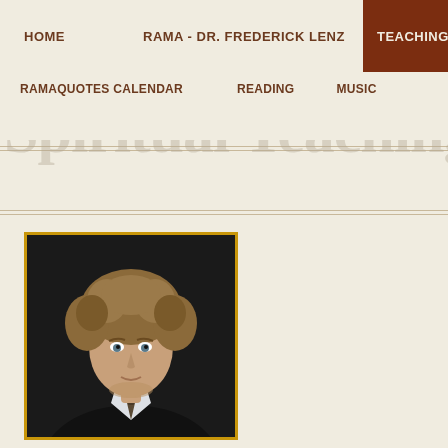HOME   RAMA - DR. FREDERICK LENZ   TEACHINGS
RAMAQUOTES CALENDAR   READING   MUSIC
Spiritual Teachings
[Figure (photo): Portrait photo of Dr. Frederick Lenz (Rama) — a man with curly medium-length hair, wearing a dark suit jacket with a light shirt and patterned tie, against a dark background. The photo has a gold/yellow border.]